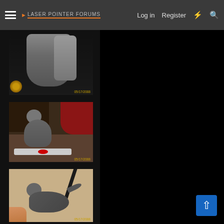☰  Laser Pointer Forums   Log in   Register
[Figure (photo): Gray cat photographed from behind showing hindquarters and legs, dark background with brass lamp visible, date stamp 05/17/2008]
[Figure (photo): Gray kitten standing on patterned carpet with TV remote control below it, red fabric in background, date stamp 05/17/2008]
[Figure (photo): Small gray kitten on beige carpet with black pen overhead and human hand visible at bottom left, date stamp 05/17/2008]